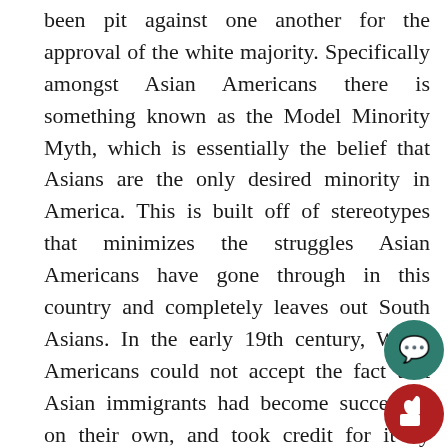been pit against one another for the approval of the white majority. Specifically amongst Asian Americans there is something known as the Model Minority Myth, which is essentially the belief that Asians are the only desired minority in America. This is built off of stereotypes that minimizes the struggles Asian Americans have gone through in this country and completely leaves out South Asians. In the early 19th century, White Americans could not accept the fact that Asian immigrants had become successful on their own, and took credit for it by claiming that Asian people had some sort of closer proximity to whiteness than other minorities did. This long running myth has created a silent (sometimes not so silent) feud between Asian Americans and other minorities, and often times Asian people are not even considered minorities because of this harmful belief created hundreds of years ago.
[Figure (other): Chat bubble icon in teal/green circle]
[Figure (other): Thumbs up icon in dark red circle]